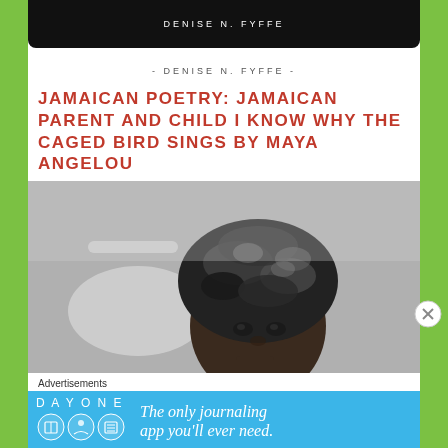DENISE N. FYFFE
- DENISE N. FYFFE -
JAMAICAN POETRY: JAMAICAN PARENT AND CHILD I KNOW WHY THE CAGED BIRD SINGS BY MAYA ANGELOU
[Figure (photo): Black and white photograph of a woman wearing a patterned head wrap, looking slightly downward, with a lamp visible in the background.]
Advertisements
[Figure (infographic): Day One journaling app advertisement banner with text: 'The only journaling app you'll ever need.']